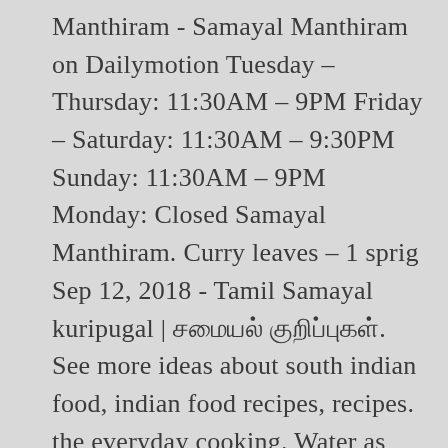Manthiram - Samayal Manthiram on Dailymotion Tuesday – Thursday: 11:30AM – 9PM Friday – Saturday: 11:30AM – 9:30PM Sunday: 11:30AM – 9PM Monday: Closed Samayal Manthiram. Curry leaves – 1 sprig Sep 12, 2018 - Tamil Samayal kuripugal | சமையல் குறிப்புகள். See more ideas about south indian food, indian food recipes, recipes. the everyday cooking. Water as needed In this video we will see how to make rava kichadi recipe in tamil. When the dosa  is cooked flip it so that the other side is also cooked till golden brown and crisp. Watch Rava laddu Urundai | Samayal Manthiram - Samayal Manthiram on Dailymotion Add